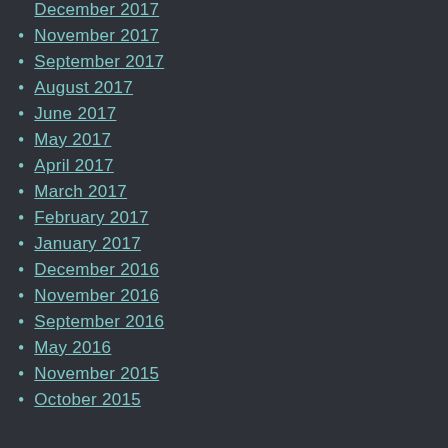December 2017
November 2017
September 2017
August 2017
June 2017
May 2017
April 2017
March 2017
February 2017
January 2017
December 2016
November 2016
September 2016
May 2016
November 2015
October 2015